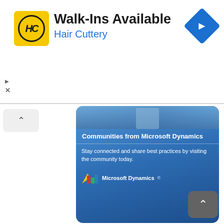[Figure (infographic): Hair Cuttery ad banner: yellow HC logo circle, 'Walk-Ins Available' title, 'Hair Cuttery' subtitle in blue, blue navigation diamond icon on right, play and close controls on left]
[Figure (infographic): Microsoft Dynamics Communities ad: blue gradient background with photo strip at top, bold white text 'Communities from Microsoft Dynamics', body text 'Stay connected and share best practices by visiting the community today.', Microsoft Dynamics logo at bottom]
[Figure (logo): GPUG logo: orange/yellow arrow pointing right with 'GP' in orange and 'UG' in dark text]
[Figure (photo): Photo of three business people networking at an event, two men and a woman in business attire]
Learn and Network with your Microsoft Dynamics GP Peer!